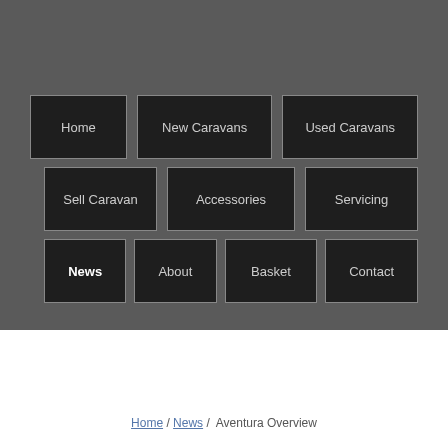[Figure (screenshot): Navigation menu with dark background showing 10 nav buttons arranged in 3 rows: Home, New Caravans, Used Caravans; Sell Caravan, Accessories, Servicing; News (active/bold), About, Basket, Contact]
Home / News / Aventura Overview